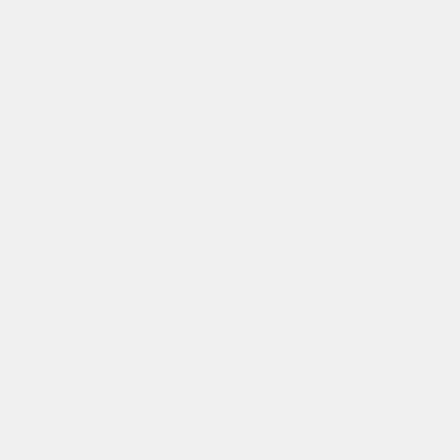play any of the
Not to mention
Moon live acti
^ | v Reply
Brett
13 years a
PLEASE MAK

Don't let a gre
^ | v Reply
novade
13 years a
this is the sec
about a Sailor
Canada.. like 
Movie Industry
for which up c

so there's a da
^ | v Reply